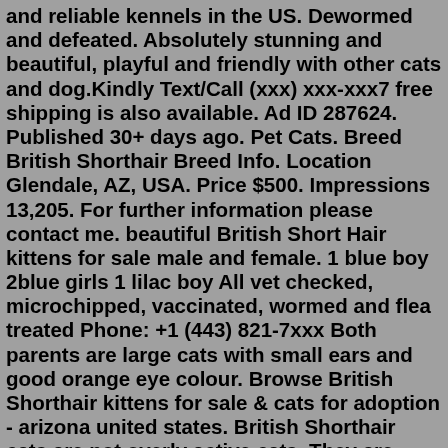and reliable kennels in the US. Dewormed and defeated. Absolutely stunning and beautiful, playful and friendly with other cats and dog.Kindly Text/Call (xxx) xxx-xxx7 free shipping is also available. Ad ID 287624. Published 30+ days ago. Pet Cats. Breed British Shorthair Breed Info. Location Glendale, AZ, USA. Price $500. Impressions 13,205. For further information please contact me. beautiful British Short Hair kittens for sale male and female. 1 blue boy 2blue girls 1 lilac boy All vet checked, microchipped, vaccinated, wormed and flea treated Phone: +1 (443) 821-7xxx Both parents are large cats with small ears and good orange eye colour. Browse British Shorthair kittens for sale & cats for adoption - arizona united states. British Shorthair cats are not overly active cats. They are quite docile and laid back. They do enjoy spurts of playing and activity but ultimately, they are a pretty relaxed cat. A complete list of all the Cat breeders with kittens for sale in Arizona. Catteries located near Phoenix, Yuma, and Casa Grande!    American Shorthair, British   Browse